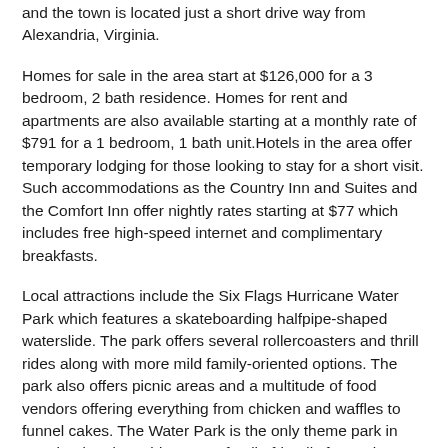and the town is located just a short drive way from Alexandria, Virginia.
Homes for sale in the area start at $126,000 for a 3 bedroom, 2 bath residence. Homes for rent and apartments are also available starting at a monthly rate of $791 for a 1 bedroom, 1 bath unit.Hotels in the area offer temporary lodging for those looking to stay for a short visit. Such accommodations as the Country Inn and Suites and the Comfort Inn offer nightly rates starting at $77 which includes free high-speed internet and complimentary breakfasts.
Local attractions include the Six Flags Hurricane Water Park which features a skateboarding halfpipe-shaped waterslide. The park offers several rollercoasters and thrill rides along with more mild family-oriented options. The park also offers picnic areas and a multitude of food vendors offering everything from chicken and waffles to funnel cakes. The Water Park is the only theme park in Maryland and provides many family-friendly fun options.